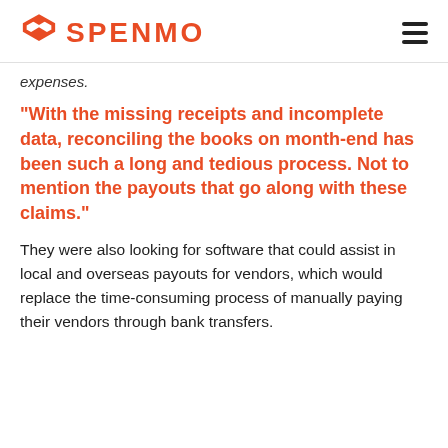SPENMO
expenses.
"With the missing receipts and incomplete data, reconciling the books on month-end has been such a long and tedious process. Not to mention the payouts that go along with these claims."
They were also looking for software that could assist in local and overseas payouts for vendors, which would replace the time-consuming process of manually paying their vendors through bank transfers.